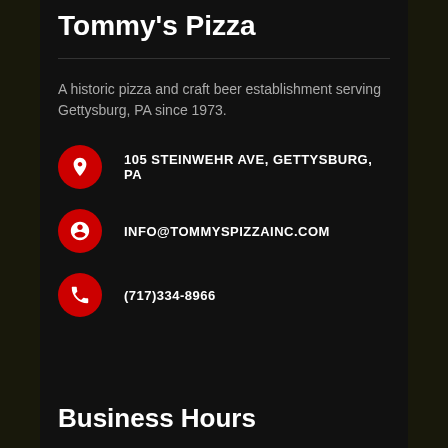Tommy's Pizza
A historic pizza and craft beer establishment serving Gettysburg, PA since 1973.
105 STEINWEHR AVE, GETTYSBURG, PA
INFO@TOMMYSPIZZAINC.COM
(717)334-8966
Business Hours